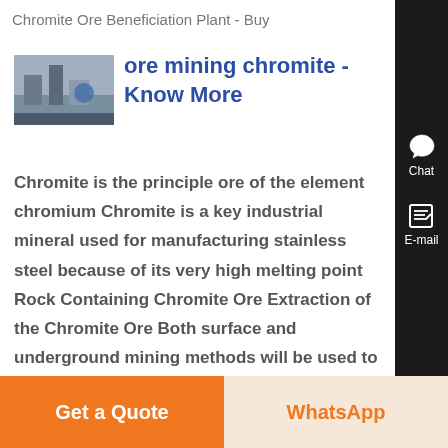Chromite Ore Beneficiation Plant - Buy
ore mining chromite - Know More
[Figure (photo): Thumbnail photo of a chromite ore mining or beneficiation plant facility]
Chromite is the principle ore of the element chromium Chromite is a key industrial mineral used for manufacturing stainless steel because of its very high melting point Rock Containing Chromite Ore Extraction of the Chromite Ore Both surface and underground mining methods will be used to mine the chromite Mining